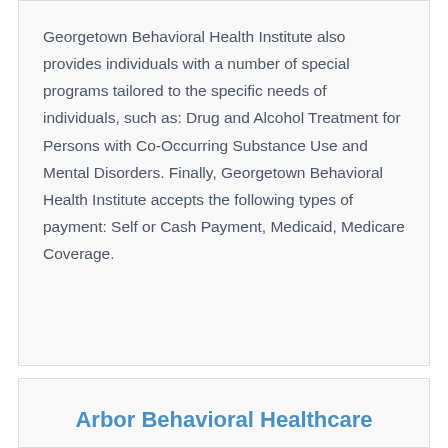Georgetown Behavioral Health Institute also provides individuals with a number of special programs tailored to the specific needs of individuals, such as: Drug and Alcohol Treatment for Persons with Co-Occurring Substance Use and Mental Disorders. Finally, Georgetown Behavioral Health Institute accepts the following types of payment: Self or Cash Payment, Medicaid, Medicare Coverage.
Arbor Behavioral Healthcare
Arbor Behavioral Healthcare is an addiction